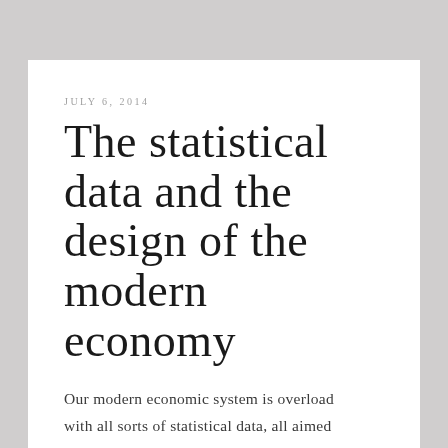JULY 6, 2014
The statistical data and the design of the modern economy
Our modern economic system is overload with all sorts of statistical data, all aimed at helping us better understand and